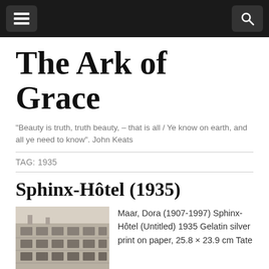Navigation bar with menu and search icons
The Ark of Grace
"Beauty is truth, truth beauty, – that is all / Ye know on earth, and all ye need to know". John Keats
TAG: 1935
Sphinx-Hôtel (1935)
[Figure (photo): Black and white photograph of a building facade, Sphinx-Hôtel, showing windows and architectural details]
Maar, Dora (1907-1997) Sphinx-Hôtel (Untitled) 1935 Gelatin silver print on paper, 25.8 × 23.9 cm Tate